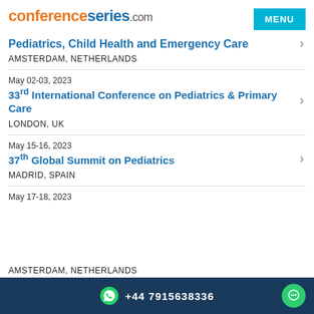conferenceseries.com
Pediatrics, Child Health and Emergency Care
AMSTERDAM, NETHERLANDS
May 02-03, 2023
33rd International Conference on Pediatrics & Primary Care
LONDON, UK
May 15-16, 2023
37th Global Summit on Pediatrics
MADRID, SPAIN
May 17-18, 2023
AMSTERDAM, NETHERLANDS
+44 7915638336